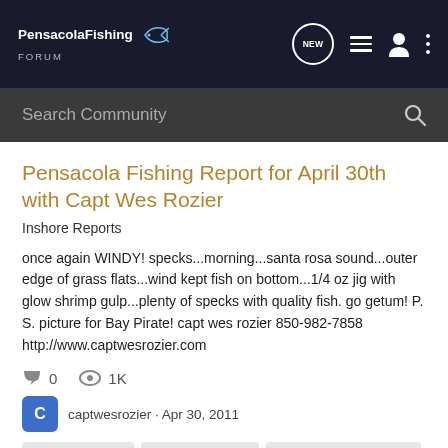Pensacola Fishing Forum
Search Community
Pensacola Fishing Report for April 30th with Capt Wes Rozier
Inshore Reports
once again WINDY! specks...morning...santa rosa sound...outer edge of grass flats...wind kept fish on bottom...1/4 oz jig with glow shrimp gulp...plenty of specks with quality fish. go getum! P. S. picture for Bay Pirate! capt wes rozier 850-982-7858 http://www.captwesrozier.com
0  1K
captwesrozier · Apr 30, 2011
navarra fishing
pensacola fishing
pensacola fishing report
perdido key fishing